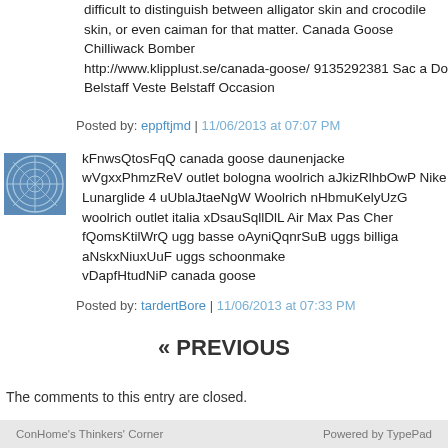difficult to distinguish between alligator skin and crocodile skin, or even caiman for that matter. Canada Goose Chilliwack Bomber http://www.klipplust.se/canada-goose/ 9135292381 Sac a Dos Belstaff Veste Belstaff Occasion
Posted by: eppftjmd | 11/06/2013 at 07:07 PM
kFnwsQtosFqQ canada goose daunenjacke wVgxxPhmzReV outlet bologna woolrich aJkizRlhbOwP Nike Lunarglide 4 uUblaJtaeNgW Woolrich nHbmuKelyUzG woolrich outlet italia xDsauSqllDlL Air Max Pas Cher fQomsKtilWrQ ugg basse oAyniQqnrSuB uggs billiga aNskxNiuxUuF uggs schoonmaken vDapfHtudNiP canada goose
Posted by: tardertBore | 11/06/2013 at 07:33 PM
« PREVIOUS
The comments to this entry are closed.
ConHome's Thinkers' Corner    Powered by TypePad